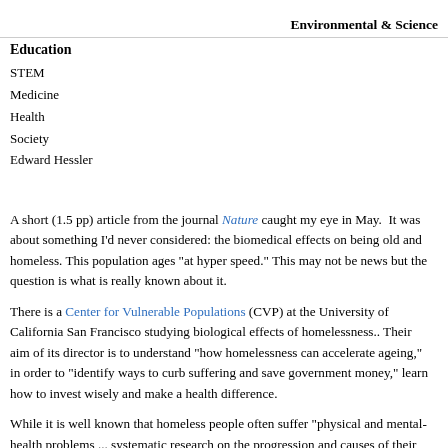Environmental & Science
Education
STEM
Medicine
Health
Society
Edward Hessler
A short (1.5 pp) article from the journal Nature caught my eye in May.  It was about something I'd never considered: the biomedical effects on being old and homeless. This population ages "at hyper speed." This may not be news but the question is what is really known about it.
There is a Center for Vulnerable Populations (CVP) at the University of California San Francisco studying biological effects of homelessness.. Their aim of its director is to understand "how homelessness can accelerate ageing," in order to "identify ways to curb suffering and save government money," learn how to invest wisely and make a health difference.
While it is well known that homeless people often suffer "physical and mental-health problems ... systematic research on the progression and causes of their